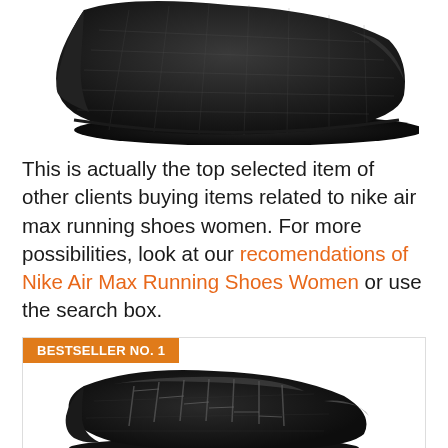[Figure (photo): Black athletic/running shoe viewed from the side, top portion cropped, showing mesh upper and dark sole]
This is actually the top selected item of other clients buying items related to nike air max running shoes women. For more possibilities, look at our recomendations of Nike Air Max Running Shoes Women or use the search box.
[Figure (photo): Black New Balance running shoe with BESTSELLER NO. 1 badge, shown at an angle with laces visible]